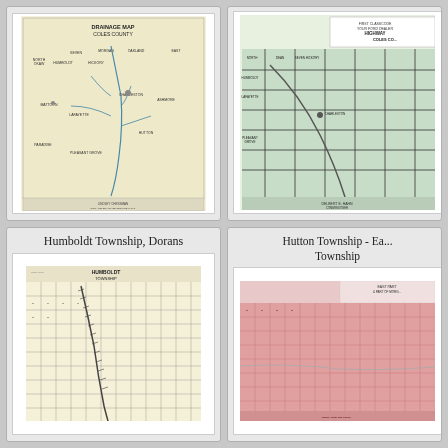[Figure (map): Drainage Map of Coles County, Illinois. Cream/yellow background with hand-drawn drainage lines, township labels including Mattoon, Charleston, Lafayette, Humboldt, Hickory, Seven, Morgan, Oakland, East, North Okaw, Paradise, Pleasant Grove, Hutton, Ashmore. Text at bottom reads: Lindley Chessman, Soil and Drainage Service M.G.T., Mattoon Illinois.]
[Figure (map): Highway Map of Coles County, Illinois. Light green background with road grid lines. Township labels similar to drainage map. Text at bottom: Delbert E. Hahn, Commissioner. Partially cut off on right side.]
Humboldt Township, Dorans
[Figure (map): Humboldt Township plat map. Cream background with detailed land ownership grid. Diagonal railroad line running through the map. Title reads HUMBOLDT TOWNSHIP in upper right corner.]
Hutton Township - East... Township
[Figure (map): East Part of Hutton Township and part of Morgan Township plat map. Pink/red background with detailed land ownership grid. Title visible in upper right: EAST PART & PART OF MORGAN. Map is partially cut off on right side.]